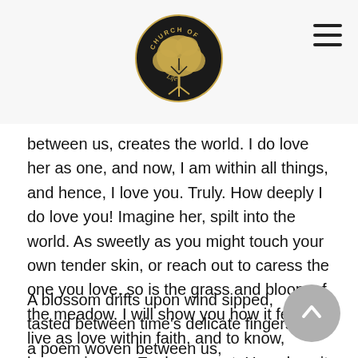Church of Life logo and navigation menu
between us, creates the world. I do love her as one, and now, I am within all things, and hence, I love you. Truly. How deeply I do love you! Imagine her, spilt into the world. As sweetly as you might touch your own tender skin, or reach out to caress the one you love, so is the grass and bloom of the meadow. I will show you how it feels to live as love within faith, and to know, heaven is now. Each moment. How does it look and feel to know, we are within all things, and to feel her within that which I see?
A blossom drifts upon wind sipped,
tasted between time's delicate fingers,
a poem woven between us,